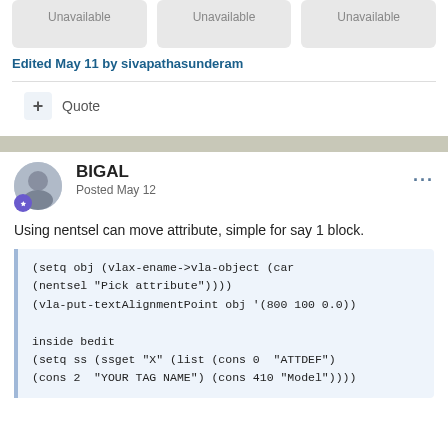[Figure (other): Three unavailable image placeholder boxes in a row]
Edited May 11 by sivapathasunderam
+ Quote
BIGAL
Posted May 12
Using nentsel can move attribute, simple for say 1 block.
(setq obj (vlax-ename->vla-object (car
(nentsel "Pick attribute"))))
(vla-put-textAlignmentPoint obj '(800 100 0.0))

inside bedit
(setq ss (ssget "X" (list (cons 0  "ATTDEF")
(cons 2  "YOUR TAG NAME") (cons 410 "Model"))))